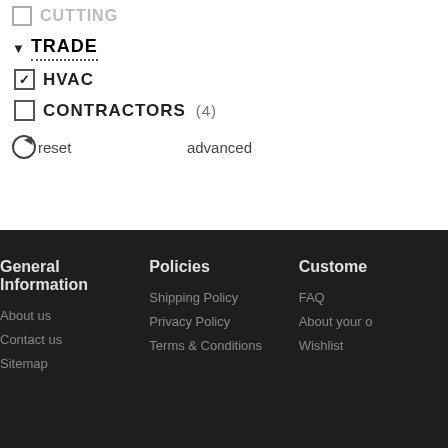☐ CUTTING
▼ TRADE
☑ HVAC
☐ CONTRACTORS (4)
reset   advanced
General Information | About us | Contact us | Sitemap | Policies | Shipping Policy | Privacy Policy | Terms & Conditions | Customer | FAQ | About your | Wishlist